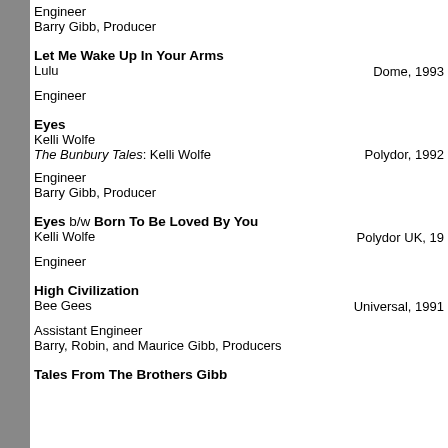Engineer
Barry Gibb, Producer
Let Me Wake Up In Your Arms
Lulu
Dome, 1993
Engineer
Eyes
Kelli Wolfe
The Bunbury Tales: Kelli Wolfe
Polydor, 1992
Engineer
Barry Gibb, Producer
Eyes b/w Born To Be Loved By You
Kelli Wolfe
Polydor UK, 19
Engineer
High Civilization
Bee Gees
Universal, 1991
Assistant Engineer
Barry, Robin, and Maurice Gibb, Producers
Tales From The Brothers Gibb